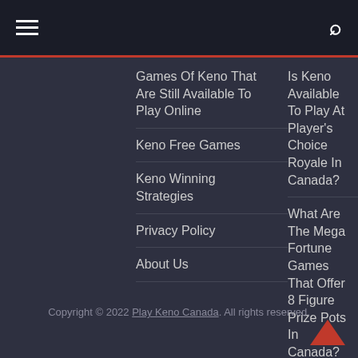Navigation header with hamburger menu and search icon
Games Of Keno That Are Still Available To Play Online
Is Keno Available To Play At Player's Choice Royale In Canada?
Keno Free Games
What Are The Mega Fortune Games That Offer 8 Figure Prize Pots In Canada?
Keno Winning Strategies
Privacy Policy
About Us
How To Play Golden Egg Keno?
Copyright © 2022 Play Keno Canada. All rights reserved.